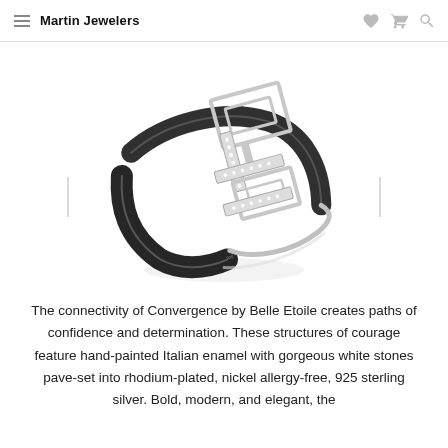Martin Jewelers
[Figure (photo): Jewelry product photo showing a Belle Etoile Convergence cuff bracelet in black enamel and rhodium-plated 925 sterling silver with white pave-set stones, photographed at an angle against a white background.]
The connectivity of Convergence by Belle Etoile creates paths of confidence and determination. These structures of courage feature hand-painted Italian enamel with gorgeous white stones pave-set into rhodium-plated, nickel allergy-free, 925 sterling silver. Bold, modern, and elegant, the